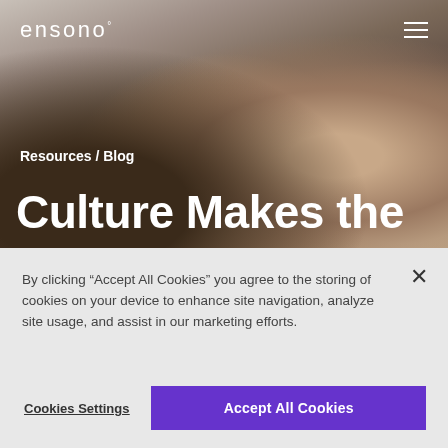[Figure (screenshot): Ensono website hero section with background photo of diverse people smiling, looking upward. Dark overlay applied. Navigation bar with Ensono logo and hamburger menu in top corners.]
ensono°
Resources / Blog
Culture Makes the
By clicking "Accept All Cookies" you agree to the storing of cookies on your device to enhance site navigation, analyze site usage, and assist in our marketing efforts.
Cookies Settings
Accept All Cookies